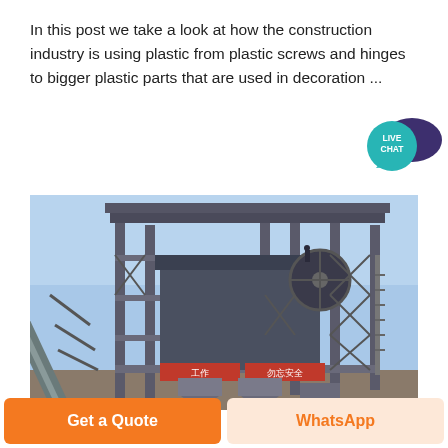In this post we take a look at how the construction industry is using plastic from plastic screws and hinges to bigger plastic parts that are used in decoration ...
[Figure (photo): Industrial construction machinery tower with steel scaffolding, conveyor belts, and Chinese safety signage reading 勿忘安全 and 工作, photographed against a blue sky.]
Get a Quote
WhatsApp